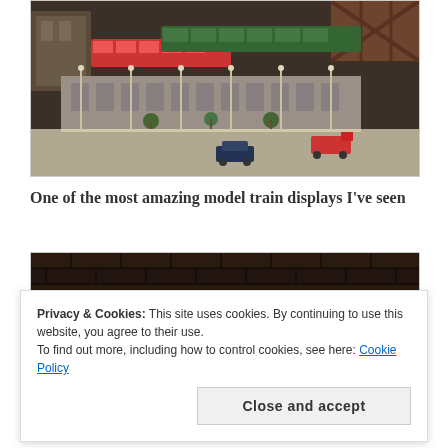[Figure (photo): A detailed model train display showing a train station scene with green and red model trains, a station building with arches, street lamps, miniature trees, vintage cars including a red truck and a dark blue car, and track infrastructure.]
One of the most amazing model train displays I've seen
[Figure (photo): A dark image partially visible, appears to show a brick wall background in low light.]
Privacy & Cookies: This site uses cookies. By continuing to use this website, you agree to their use.
To find out more, including how to control cookies, see here: Cookie Policy
Close and accept